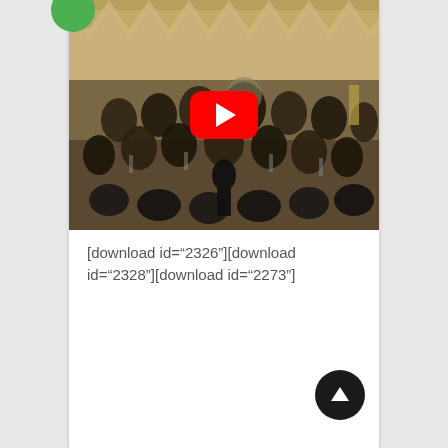[Figure (photo): Orchestra performing on stage with conductor, YouTube play button overlay in center, green circle partially visible top-left corner]
[download id="2326"][download id="2328"][download id="2273"]